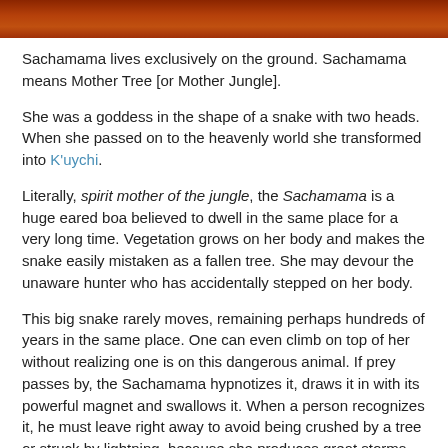[Figure (photo): Dark reddish-brown image at the top of the page, likely a photo of a jungle or snake-related scene.]
Sachamama lives exclusively on the ground. Sachamama means Mother Tree [or Mother Jungle].
She was a goddess in the shape of a snake with two heads. When she passed on to the heavenly world she transformed into K'uychi.
Literally, spirit mother of the jungle, the Sachamama is a huge eared boa believed to dwell in the same place for a very long time. Vegetation grows on her body and makes the snake easily mistaken as a fallen tree. She may devour the unaware hunter who has accidentally stepped on her body.
This big snake rarely moves, remaining perhaps hundreds of years in the same place. One can even climb on top of her without realizing one is on this dangerous animal. If prey passes by, the Sachamama hypnotizes it, draws it in with its powerful magnet and swallows it. When a person recognizes it, he must leave right away to avoid being crushed by a tree or struck by lightning, because she produces great storms.
...